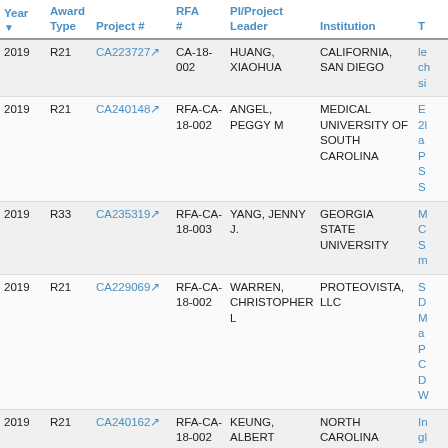| Year | Award Type | Project # | RFA # | PI/Project Leader | Institution | T |
| --- | --- | --- | --- | --- | --- | --- |
| 2019 | R21 | CA223727 | CA-18-002 | HUANG, XIAOHUA | CALIFORNIA, SAN DIEGO | le ch si |
| 2019 | R21 | CA240148 | RFA-CA-18-002 | ANGEL, PEGGY M | MEDICAL UNIVERSITY OF SOUTH CAROLINA | E 2l a P S S |
| 2019 | R33 | CA235319 | RFA-CA-18-003 | YANG, JENNY J. | GEORGIA STATE UNIVERSITY | M C S m |
| 2019 | R21 | CA229069 | RFA-CA-18-002 | WARREN, CHRISTOPHER L | PROTEOVISTA, LLC | S D M a P C D W |
| 2019 | R21 | CA240162 | RFA-CA-18-002 | KEUNG, ALBERT | NORTH CAROLINA STATE UNIVERSITY RALEIGH | In gl m m (e |